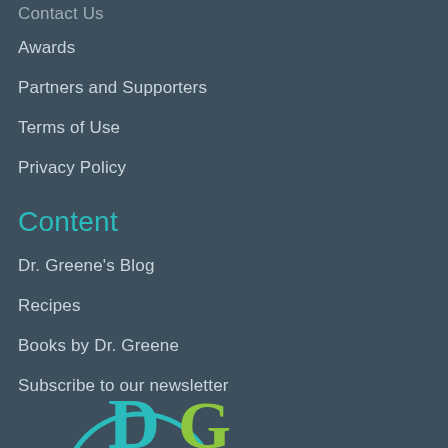Contact Us
Awards
Partners and Supporters
Terms of Use
Privacy Policy
Content
Dr. Greene's Blog
Recipes
Books by Dr. Greene
Subscribe to our newsletter
[Figure (logo): Dr. Greene logo — circular teal and lime-green lettermark partially visible at bottom of page]